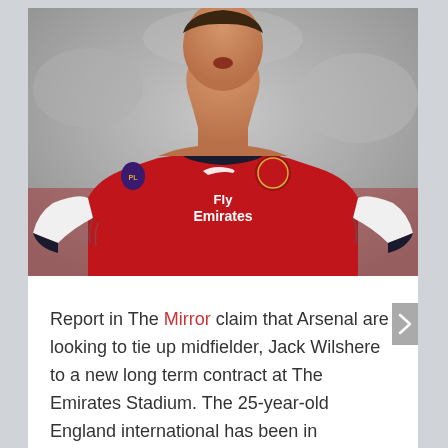[Figure (photo): A footballer wearing a red Arsenal 'Fly Emirates' jersey with white sleeves and black trim, mouth open as if celebrating or shouting, tattoos visible on arms, photographed from chest up against a blurred background.]
Report in The Mirror claim that Arsenal are looking to tie up midfielder, Jack Wilshere to a new long term contract at The Emirates Stadium. The 25-year-old England international has been in impressive form since moving to Bournemouth on a season long loan deal and is